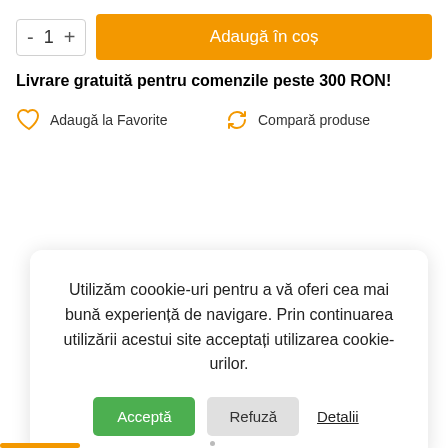[Figure (screenshot): E-commerce add to cart controls: quantity selector with minus, 1, plus buttons and orange 'Adaugă în coș' button]
Livrare gratuită pentru comenzile peste 300 RON!
Adaugă la Favorite
Compară produse
Utilizăm coookie-uri pentru a vă oferi cea mai bună experiență de navigare. Prin continuarea utilizării acestui site acceptați utilizarea cookie-urilor.
Acceptă  Refuză  Detalii